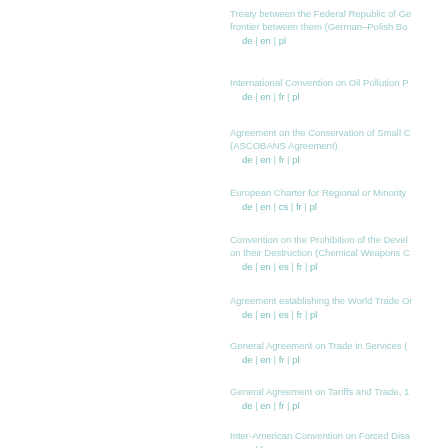Treaty between the Federal Republic of Germany and the Republic of Poland on the confirmation of the frontier between them (German–Polish Border Treaty)
de | en | pl
International Convention on Oil Pollution Preparedness, Response and Co-operation
de | en | fr | pl
Agreement on the Conservation of Small Cetaceans of the Baltic and North Seas (ASCOBANS Agreement)
de | en | fr | pl
European Charter for Regional or Minority Languages
de | en | cs | fr | pl
Convention on the Prohibition of the Development, Production, Stockpiling and Use of Chemical Weapons and on their Destruction (Chemical Weapons Convention)
de | en | es | fr | pl
Agreement establishing the World Trade Organization
de | en | es | fr | pl
General Agreement on Trade in Services (GATS)
de | en | fr | pl
General Agreement on Tariffs and Trade, 1994
de | en | fr | pl
Inter-American Convention on Forced Disappearance of Persons
en | fr